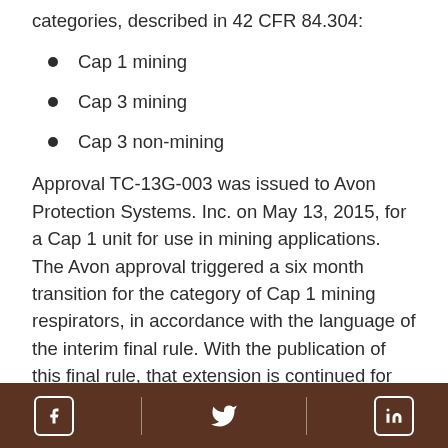categories, described in 42 CFR 84.304:
Cap 1 mining
Cap 3 mining
Cap 3 non-mining
Approval TC-13G-003 was issued to Avon Protection Systems. Inc. on May 13, 2015, for a Cap 1 unit for use in mining applications. The Avon approval triggered a six month transition for the category of Cap 1 mining respirators, in accordance with the language of the interim final rule. With the publication of this final rule, that extension is continued for an additional six months, until May 13, 2016.
The entire rule can be viewed as a Federal Register
Social media icons: Facebook, Twitter, LinkedIn